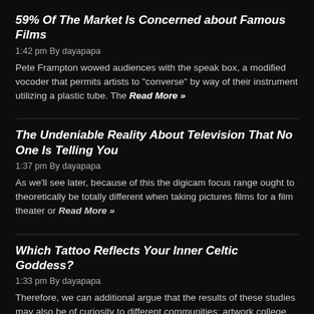59% Of The Market Is Concerned about Famous Films
1:42 pm By dayapapa
Pete Frampton wowed audiences with the speak box, a modified vocoder that permits artists to "converse" by way of their instrument utilizing a plastic tube. The Read More »
The Undeniable Reality About Television That No One Is Telling You
1:37 pm By dayapapa
As we'll see later, because of this the digicam focus range ought to theoretically be totally different when taking pictures films for a film theater or Read More »
Which Tattoo Reflects Your Inner Celtic Goddess?
1:33 pm By dayapapa
Therefore, we can additional argue that the results of these studies may also be of curiosity to different communities: artwork college students and practicing artists. Our Read More »